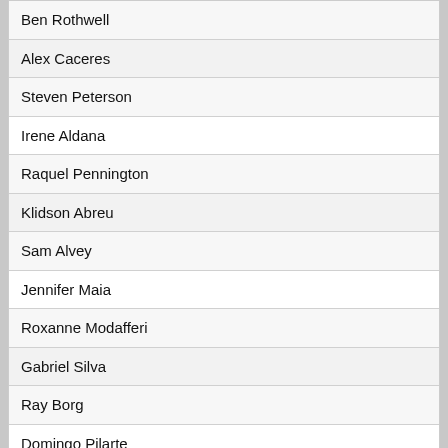Ben Rothwell
Alex Caceres
Steven Peterson
Irene Aldana
Raquel Pennington
Klidson Abreu
Sam Alvey
Jennifer Maia
Roxanne Modafferi
Gabriel Silva
Ray Borg
Domingo Pilarte
Felipe Colares
Jin Soo Son
Mario Bautista
Event props